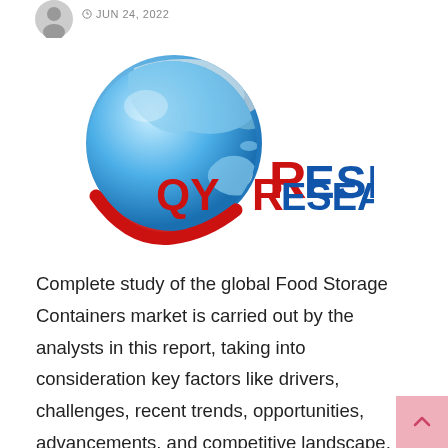JUN 24, 2022
[Figure (logo): QYResearch logo with globe graphic and red/blue text]
Complete study of the global Food Storage Containers market is carried out by the analysts in this report, taking into consideration key factors like drivers, challenges, recent trends, opportunities, advancements, and competitive landscape. This report offers a clear